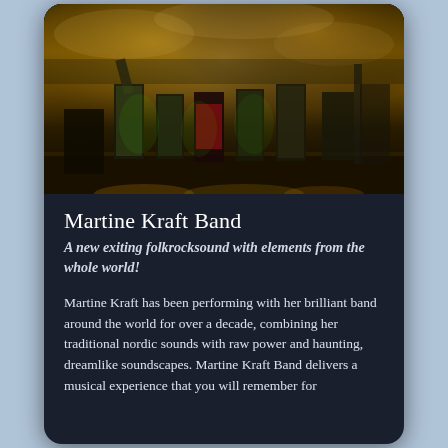[Figure (photo): Concert photo showing band members on stage from behind, silhouetted against dramatic golden smoky stage lighting with green-lit figures raising hands to a crowd]
Martine Kraft Band
A new exiting folkrocksound with elements from the whole world!
Martine Kraft has been performing with her brilliant band around the world for over a decade, combining her traditional nordic sounds with raw power and haunting, dreamlike soundscapes. Martine Kraft Band delivers a musical experience that you will remember for